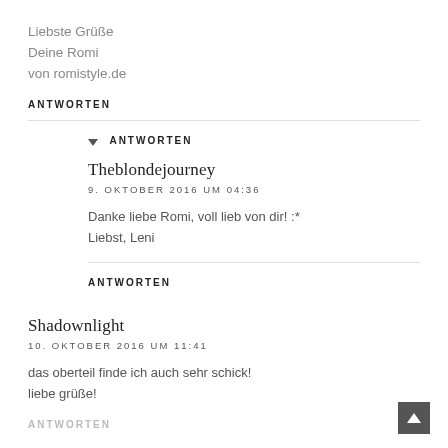Liebste Grüße
Deine Romi
von romistyle.de
ANTWORTEN
▾ ANTWORTEN
Theblondejourney
9. OKTOBER 2016 UM 04:36
Danke liebe Romi, voll lieb von dir! :*
Liebst, Leni
ANTWORTEN
Shadownlight
10. OKTOBER 2016 UM 11:41
das oberteil finde ich auch sehr schick!
liebe grüße!
ANTWORTEN